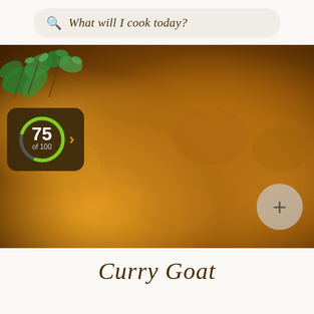What will I cook today?
[Figure (photo): Close-up photo of curry goat dish with golden-brown meat pieces in rich brown curry sauce, garnished with fresh green herbs (thyme) on top. Overlaid UI elements include a score badge showing 75 of 100 with a green progress ring, and a plus button in the bottom right.]
Curry Goat